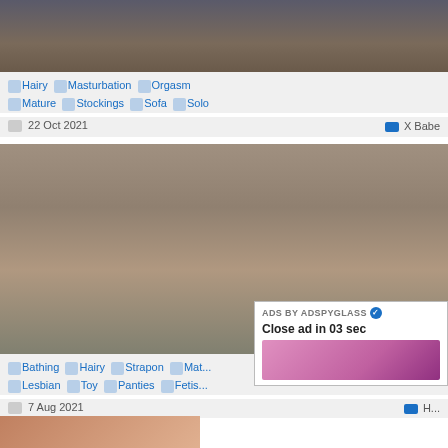[Figure (screenshot): Thumbnail image of video - top portion cropped]
🏷 Hairy 🏷 Masturbation 🏷 Orgasm 🏷 Mature 🏷 Stockings 🏷 Sofa 🏷 Solo
22 Oct 2021  X Babe
[Figure (screenshot): Thumbnail image of video - duration 4:56]
🏷 Bathing 🏷 Hairy 🏷 Strapon 🏷 Mat... 🏷 Lesbian 🏷 Toy 🏷 Panties 🏷 Fetis...
7 Aug 2021  H...
[Figure (screenshot): Partial thumbnail of third video]
ADS BY ADSPYGLASS  Close ad in 03 sec